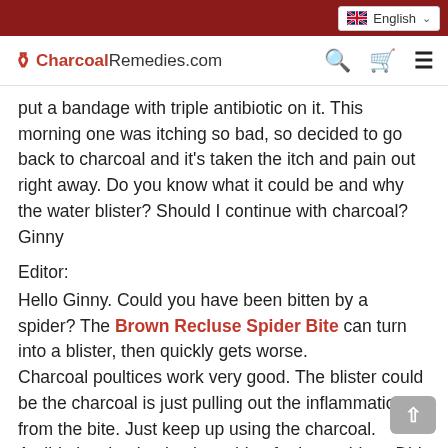English
CharcoalRemedies.com
put a bandage with triple antibiotic on it. This morning one was itching so bad, so decided to go back to charcoal and it's taken the itch and pain out right away. Do you know what it could be and why the water blister? Should I continue with charcoal? Ginny
Editor:
Hello Ginny. Could you have been bitten by a spider? The Brown Recluse Spider Bite can turn into a blister, then quickly gets worse.
Charcoal poultices work very good. The blister could be the charcoal is just pulling out the inflammation from the bite. Just keep up using the charcoal. Antibiotics do absolutely nothing for insect bites. Did